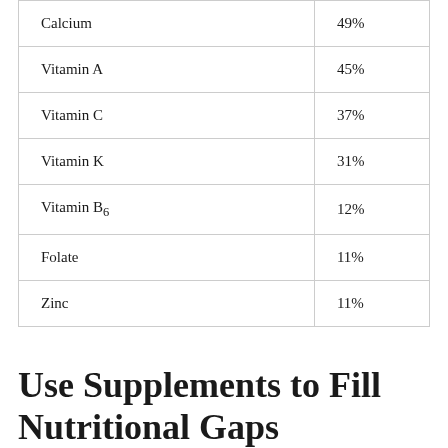| Calcium | 49% |
| Vitamin A | 45% |
| Vitamin C | 37% |
| Vitamin K | 31% |
| Vitamin B6 | 12% |
| Folate | 11% |
| Zinc | 11% |
Use Supplements to Fill Nutritional Gaps